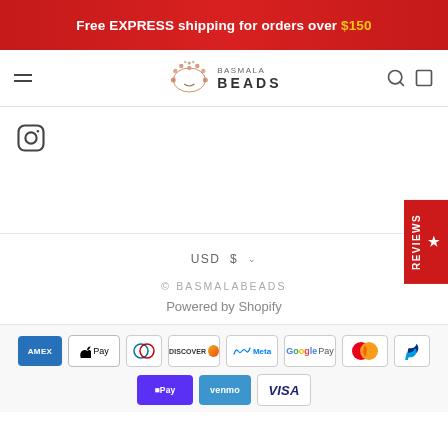Free EXPRESS shipping for orders over $150
[Figure (logo): Basmala Beads logo with bead necklace graphic and text 'BEADS']
[Figure (other): Instagram icon]
USD $ ∨
© BASMALABEADS
Powered by Shopify
[Figure (other): Payment method icons: American Express, Apple Pay, Diners Club, Discover, Meta Pay, Google Pay, Mastercard, PayPal, Shop Pay, Venmo, Visa]